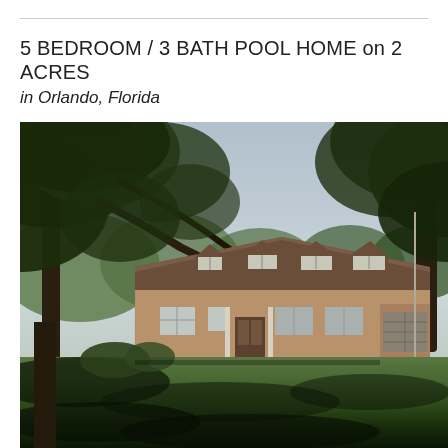5 BEDROOM / 3 BATH POOL HOME on 2 ACRES
in Orlando, Florida
[Figure (photo): Exterior photo of a single-story brick ranch-style home with brown/brick roof dormers on a large green lawn, framed by large oak trees with overhanging branches. The house has white trim windows and an attached garage. Taken on a partly cloudy day.]